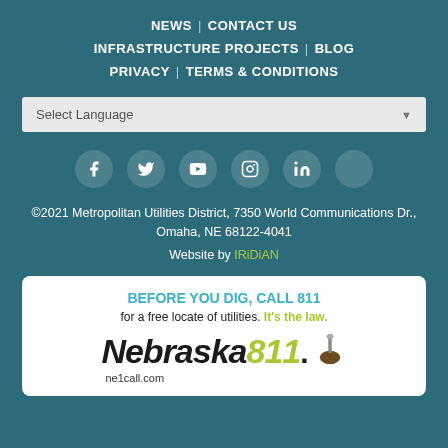NEWS | CONTACT US
INFRASTRUCTURE PROJECTS | BLOG
PRIVACY | TERMS & CONDITIONS
Select Language
[Figure (infographic): Social media icons: Facebook, Twitter, YouTube, Instagram, LinkedIn, and a blank circle]
©2021 Metropolitan Utilities District, 7350 World Communications Dr., Omaha, NE 68122-4041
Website by IRiDiAN
[Figure (infographic): Nebraska 811 call before you dig advertisement. Text: BEFORE YOU DIG, CALL 811 for a free locate of utilities. It's the law. Nebraska811 logo and ne1call.com URL.]